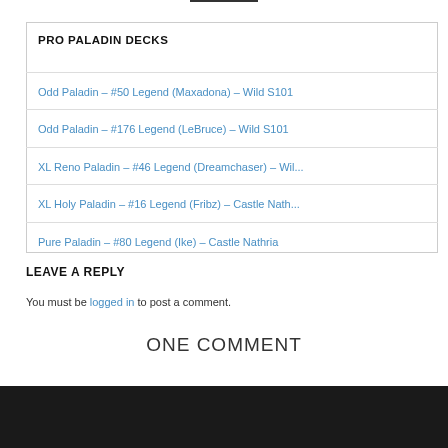PRO PALADIN DECKS
Odd Paladin – #50 Legend (Maxadona) – Wild S101
Odd Paladin – #176 Legend (LeBruce) – Wild S101
XL Reno Paladin – #46 Legend (Dreamchaser) – Wil...
XL Holy Paladin – #16 Legend (Fribz) – Castle Nath...
Pure Paladin – #80 Legend (Ike) – Castle Nathria
LEAVE A REPLY
You must be logged in to post a comment.
ONE COMMENT